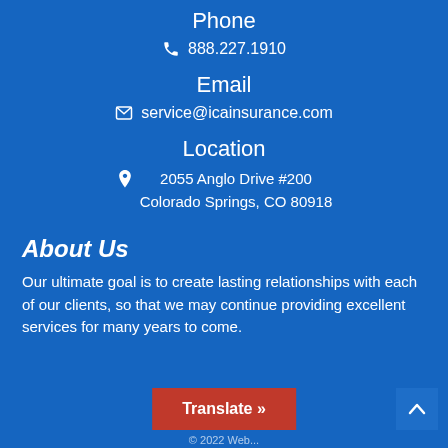Phone
888.227.1910
Email
service@icainsurance.com
Location
2055 Anglo Drive #200 Colorado Springs, CO 80918
About Us
Our ultimate goal is to create lasting relationships with each of our clients, so that we may continue providing excellent services for many years to come.
Translate »
© 2022 Web...